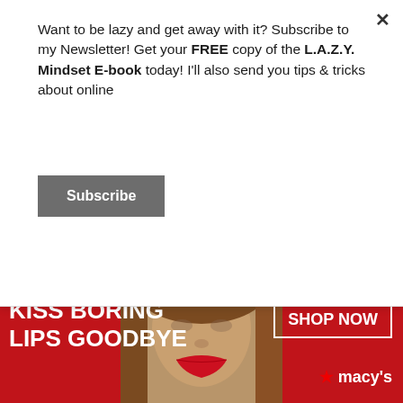Want to be lazy and get away with it? Subscribe to my Newsletter! Get your FREE copy of the L.A.Z.Y. Mindset E-book today! I'll also send you tips & tricks about online
Subscribe
making and achieving the lazy way to success!
[Figure (illustration): Two black silhouette palm trees against a pinkish-white background]
infolinks
[Figure (photo): Advertisement banner for Macy's lipstick: 'KISS BORING LIPS GOODBYE' with a woman's face and red lips, SHOP NOW button and Macy's star logo]